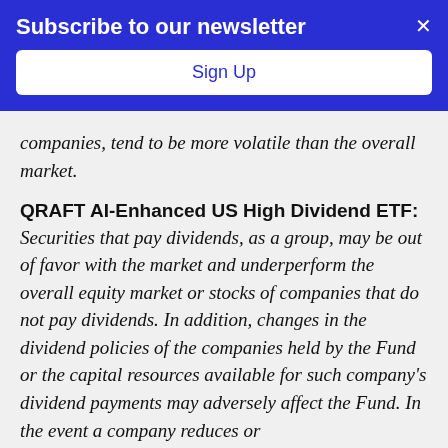[Figure (other): Subscribe to our newsletter banner with blue background, Sign Up button, and close X button]
companies, tend to be more volatile than the overall market.
QRAFT AI-Enhanced US High Dividend ETF:
Securities that pay dividends, as a group, may be out of favor with the market and underperform the overall equity market or stocks of companies that do not pay dividends. In addition, changes in the dividend policies of the companies held by the Fund or the capital resources available for such company's dividend payments may adversely affect the Fund. In the event a company reduces or